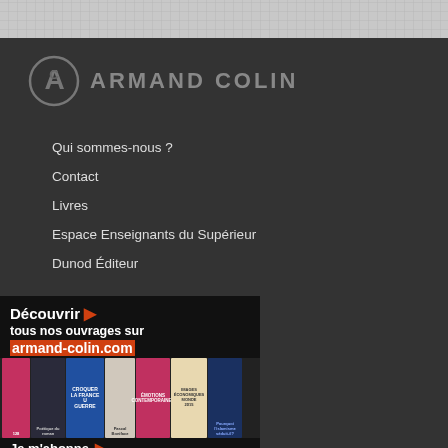[Figure (logo): Armand Colin publisher logo with stylized AC monogram in grey]
Qui sommes-nous ?
Contact
Livres
Espace Enseignants du Supérieur
Dunod Éditeur
[Figure (illustration): Promotional banner: Découvrir tous nos ouvrages sur armand-colin.com with book covers displayed]
Je m'abonne